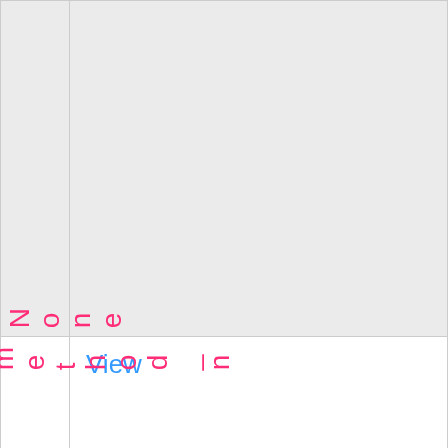| Parameter | Value |
| --- | --- |
| s =
None |  |
| http_method_n | View |